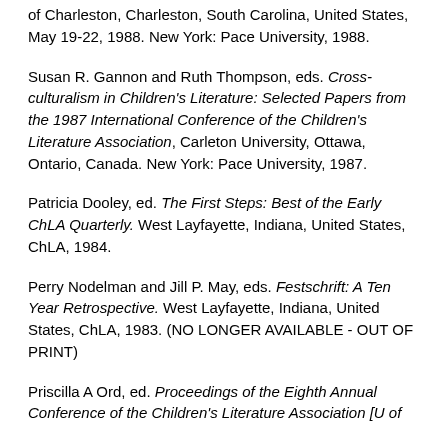of Charleston, Charleston, South Carolina, United States, May 19-22, 1988. New York: Pace University, 1988.
Susan R. Gannon and Ruth Thompson, eds. Cross-culturalism in Children's Literature: Selected Papers from the 1987 International Conference of the Children's Literature Association, Carleton University, Ottawa, Ontario, Canada. New York: Pace University, 1987.
Patricia Dooley, ed. The First Steps: Best of the Early ChLA Quarterly. West Layfayette, Indiana, United States, ChLA, 1984.
Perry Nodelman and Jill P. May, eds. Festschrift: A Ten Year Retrospective. West Layfayette, Indiana, United States, ChLA, 1983. (NO LONGER AVAILABLE - OUT OF PRINT)
Priscilla A Ord, ed. Proceedings of the Eighth Annual Conference of the Children's Literature Association [U of